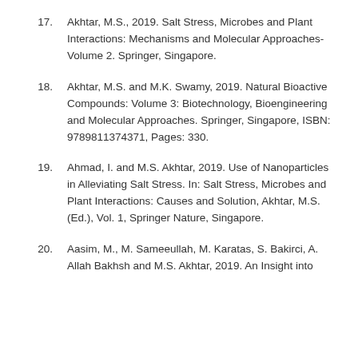17. Akhtar, M.S., 2019. Salt Stress, Microbes and Plant Interactions: Mechanisms and Molecular Approaches-Volume 2. Springer, Singapore.
18. Akhtar, M.S. and M.K. Swamy, 2019. Natural Bioactive Compounds: Volume 3: Biotechnology, Bioengineering and Molecular Approaches. Springer, Singapore, ISBN: 9789811374371, Pages: 330.
19. Ahmad, I. and M.S. Akhtar, 2019. Use of Nanoparticles in Alleviating Salt Stress. In: Salt Stress, Microbes and Plant Interactions: Causes and Solution, Akhtar, M.S. (Ed.), Vol. 1, Springer Nature, Singapore.
20. Aasim, M., M. Sameeullah, M. Karatas, S. Bakirci, A. Allah Bakhsh and M.S. Akhtar, 2019. An Insight into